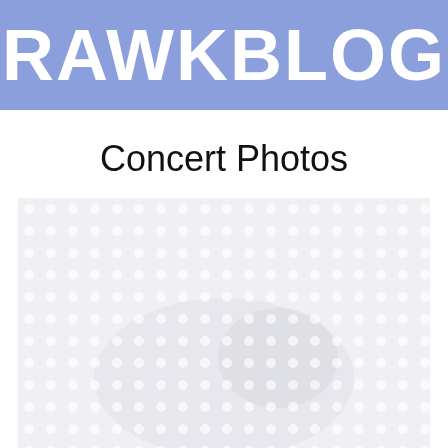RAWKBLOG
Concert Photos
[Figure (photo): A large placeholder image area with a light gray background featuring a subtle white polka-dot pattern, suggesting a concert photo that has not loaded or is a placeholder.]